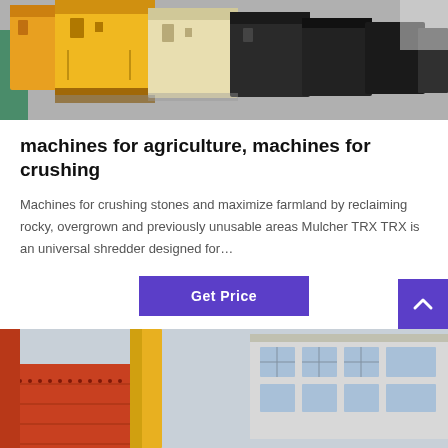[Figure (photo): Industrial crushing machines in yellow and beige colors lined up in a factory/warehouse setting with concrete floor]
machines for agriculture, machines for crushing
Machines for crushing stones and maximize farmland by reclaiming rocky, overgrown and previously unusable areas Mulcher TRX TRX is an universal shredder designed for…
[Figure (other): Purple 'Get Price' button]
[Figure (photo): Industrial machinery with yellow crane/excavator arm and red metal panels visible against a building with large windows]